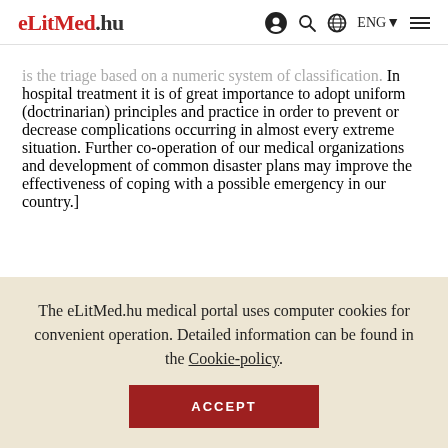eLitMed.hu
is the triage based on a numeric system of classification. In hospital treatment it is of great importance to adopt uniform (doctrinarian) principles and practice in order to prevent or decrease complications occurring in almost every extreme situation. Further co-operation of our medical organizations and development of common disaster plans may improve the effectiveness of coping with a possible emergency in our country.]
The eLitMed.hu medical portal uses computer cookies for convenient operation. Detailed information can be found in the Cookie-policy.
ACCEPT